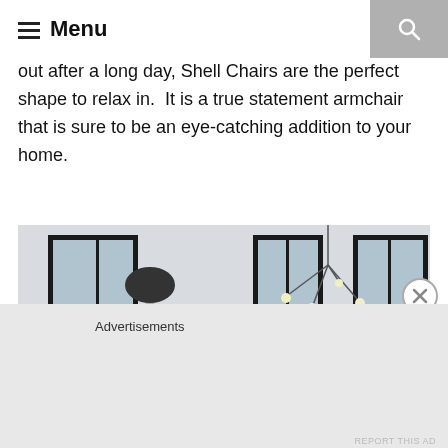Menu
out after a long day, Shell Chairs are the perfect shape to relax in.  It is a true statement armchair that is sure to be an eye-catching addition to your home.
[Figure (photo): Modern living room interior with black-framed windows, a dark sectional sofa with decorative pillows, a gray rug, a round coffee table, a floor lamp, indoor plants, framed photos on a shelf, a pendant chandelier, and a pink shell chair on the right.]
Advertisements